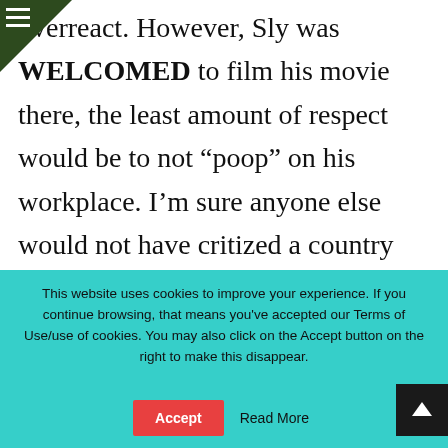overreact. However, Sly was WELCOMED to film his movie there, the least amount of respect would be to not “poop” on his workplace. I’m sure anyone else would not have critized a country thus. Personally, I think he should have acted a bit more professionally and kept his thoughts of the country to himself. However, he probably knew that this would be a great publicity stunt, therefore, he does not feel guilty
This website uses cookies to improve your experience. If you continue browsing, that means you've accepted our Terms of Use/use of cookies. You may also click on the Accept button on the right to make this disappear.